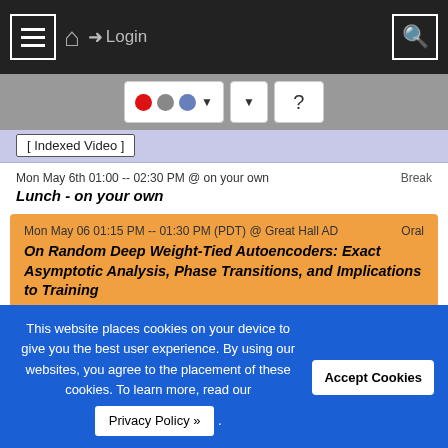[Figure (screenshot): Top navigation bar with hamburger menu, home icon, Login link, and search icon on dark background]
[Figure (screenshot): Gray toolbar with Flickr-style colored dots button, dropdown button, and help/question mark button]
[ Indexed Video ]
Mon May 6th 01:00 -- 02:30 PM @ on your own
Break
Lunch - on your own
Mon May 06 01:15 PM -- 01:30 PM (PDT) @ Great Hall AD
Oral
On Random Deep Weight-Tied Autoencoders: Exact Asymptotic Analysis, Phase Transitions, and Implications to Training
Ping Li · Phan-Minh Nguyen
[ PDF ]   [ Indexed Video ]
This website places cookies on your device to give you the best user experience. By using our websites, you agree to the placement of these cookies. To learn more, read our Privacy Policy » .